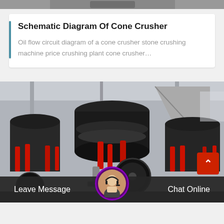[Figure (photo): Top strip showing partial view of industrial machinery or equipment]
Schematic Diagram Of Cone Crusher
Oil flow circuit diagram of a cone crusher stone crushing machine price crushing plant cone crusher…
[Figure (photo): Photograph of multiple large cone crusher machines in an industrial facility, featuring black and red machinery with hydraulic cylinders and large flywheels]
Leave Message
Chat Online